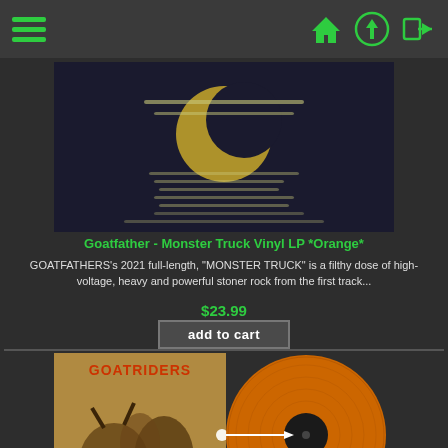Navigation header with hamburger menu and icons
[Figure (photo): Back cover of Monster Truck vinyl LP, dark background with moon/crescent graphic and tracklist text]
Goatfather - Monster Truck Vinyl LP *Orange*
GOATFATHERS's 2021 full-length, "MONSTER TRUCK" is a filthy dose of high-voltage, heavy and powerful stoner rock from the first track...
$23.99
add to cart
[Figure (photo): Album cover of Goatriders - The Magician's Keep alongside an orange vinyl record]
Goatriders - The Magician's Keep Vinyl LP *Orange*
Goatriders is a four piece band from Linköping, Sweden. The band serves up a riffy mix of desert rock with plenty of hypnotic and spacey...